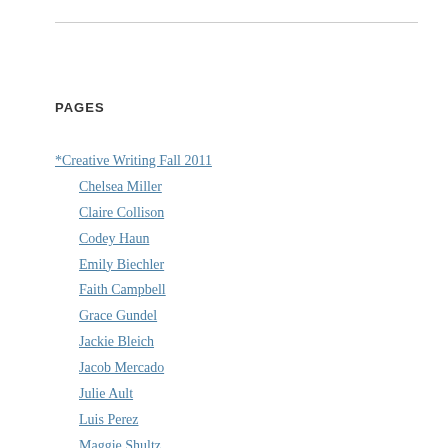PAGES
*Creative Writing Fall 2011
Chelsea Miller
Claire Collison
Codey Haun
Emily Biechler
Faith Campbell
Grace Gundel
Jackie Bleich
Jacob Mercado
Julie Ault
Luis Perez
Maggie Shultz
Mark Hutchens